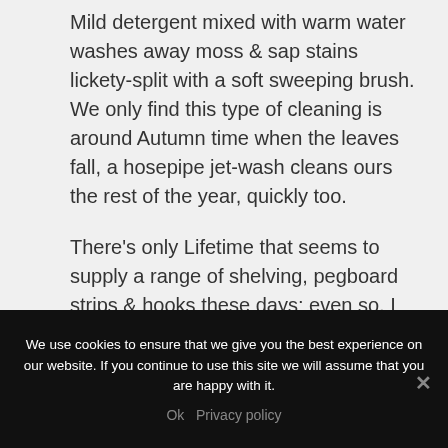Mild detergent mixed with warm water washes away moss & sap stains lickety-split with a soft sweeping brush. We only find this type of cleaning is around Autumn time when the leaves fall, a hosepipe jet-wash cleans ours the rest of the year, quickly too.
There's only Lifetime that seems to supply a range of shelving, pegboard strips & hooks these days; even so, I would still want to improve shelving options further and more robust, so
We use cookies to ensure that we give you the best experience on our website. If you continue to use this site we will assume that you are happy with it.
Ok   Privacy policy